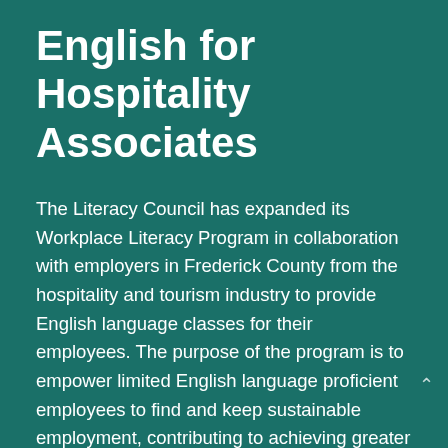English for Hospitality Associates
The Literacy Council has expanded its Workplace Literacy Program in collaboration with employers in Frederick County from the hospitality and tourism industry to provide English language classes for their employees. The purpose of the program is to empower limited English language proficient employees to find and keep sustainable employment, contributing to achieving greater financial stability and impacting the lives of their families. The program will also help employers identify and retain an educated workforce and reduce turnover, thereby strengthening the entire economic fabric of the community. The instructional